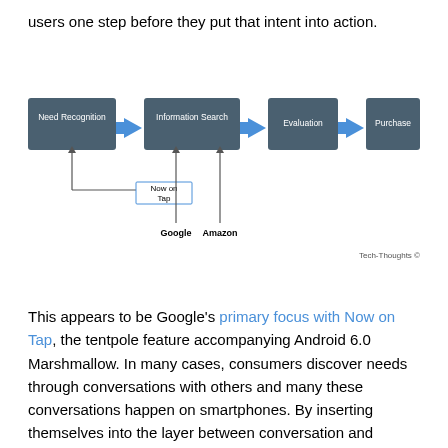users one step before they put that intent into action.
[Figure (flowchart): A horizontal flowchart with four boxes: Need Recognition → Information Search → Evaluation → Purchase. Below the flowchart, arrows point up to 'Need Recognition' from 'Now on Tap', and arrows point up to 'Information Search' from 'Google' and 'Amazon'. Attribution: Tech-Thoughts ©]
This appears to be Google's primary focus with Now on Tap, the tentpole feature accompanying Android 6.0 Marshmallow. In many cases, consumers discover needs through conversations with others and many these conversations happen on smartphones. By inserting themselves into the layer between conversation and